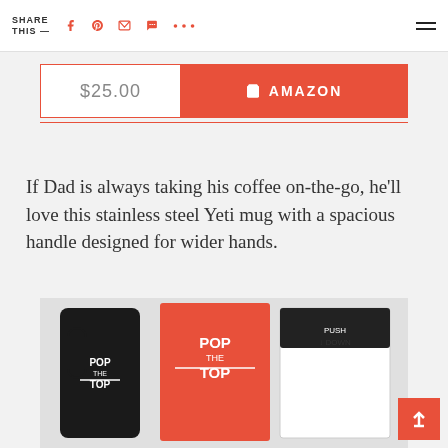SHARE THIS — [social icons: Facebook, Pinterest, Email, SMS, More] [hamburger menu]
$25.00  🛒 AMAZON
If Dad is always taking his coffee on-the-go, he'll love this stainless steel Yeti mug with a spacious handle designed for wider hands.
[Figure (photo): Product photo showing a black mug and red box both labeled 'POP THE TOP', along with product packaging with text 'PUSH DOWN']